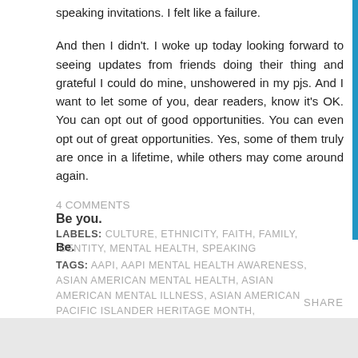speaking invitations. I felt like a failure.
And then I didn't. I woke up today looking forward to seeing updates from friends doing their thing and grateful I could do mine, unshowered in my pjs. And I want to let some of you, dear readers, know it's OK. You can opt out of good opportunities. You can even opt out of great opportunities. Yes, some of them truly are once in a lifetime, while others may come around again.
4 COMMENTS
Be you.
LABELS: CULTURE, ETHNICITY, FAITH, FAMILY, IDENTITY, MENTAL HEALTH, SPEAKING
Be.
TAGS: AAPI, AAPI MENTAL HEALTH AWARENESS, ASIAN AMERICAN MENTAL HEALTH, ASIAN AMERICAN MENTAL ILLNESS, ASIAN AMERICAN PACIFIC ISLANDER HERITAGE MONTH, INTERSECTIONALITY, OPT OUT, WORKING MOTHER
SHARE